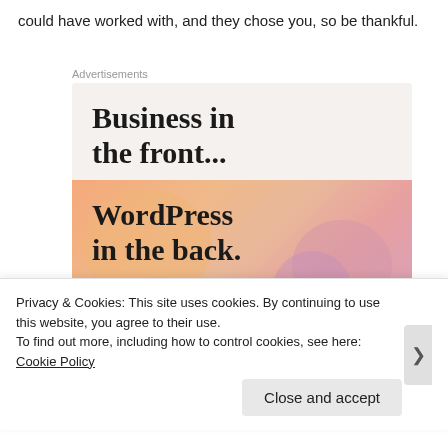could have worked with, and they chose you, so be thankful.
[Figure (illustration): Advertisement banner with two sections: top section on light beige background with bold text 'Business in the front...', bottom section with colorful gradient (orange, pink, purple blobs) and bold text 'WordPress in the back.']
Privacy & Cookies: This site uses cookies. By continuing to use this website, you agree to their use.
To find out more, including how to control cookies, see here: Cookie Policy
Close and accept